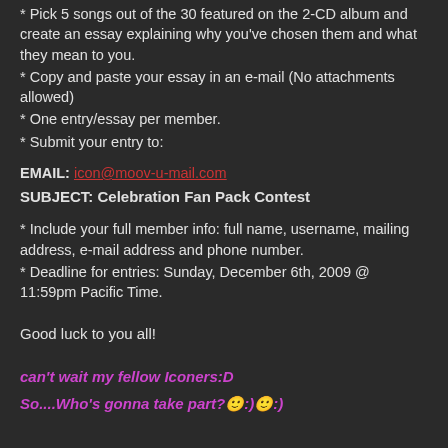* Pick 5 songs out of the 30 featured on the 2-CD album and create an essay explaining why you've chosen them and what they mean to you.
* Copy and paste your essay in an e-mail (No attachments allowed)
* One entry/essay per member.
* Submit your entry to:
EMAIL: icon@moov-u-mail.com
SUBJECT: Celebration Fan Pack Contest
* Include your full member info: full name, username, mailing address, e-mail address and phone number.
* Deadline for entries: Sunday, December 6th, 2009 @ 11:59pm Pacific Time.
Good luck to you all!
can't wait my fellow Iconers:D
So....Who's gonna take part?🙂:)🙂:)